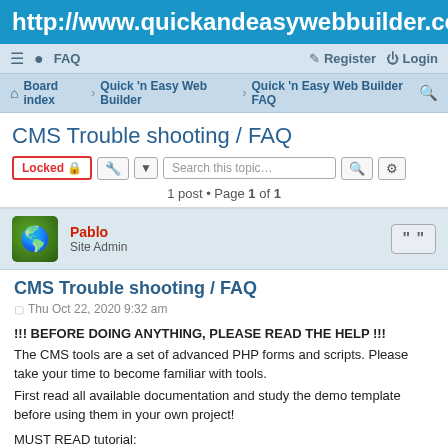http://www.quickandeasywebbuilder.com
≡  FAQ    Register  Login
Board index · Quick 'n Easy Web Builder · Quick 'n Easy Web Builder FAQ
CMS Trouble shooting / FAQ
Locked  [tool]  Search this topic…  [search] [settings]
1 post • Page 1 of 1
Pablo
Site Admin
CMS Trouble shooting / FAQ
Thu Oct 22, 2020 9:32 am
!!! BEFORE DOING ANYTHING, PLEASE READ THE HELP !!!
The CMS tools are a set of advanced PHP forms and scripts. Please take your time to become familiar with tools.
First read all available documentation and study the demo template before using them in your own project!

MUST READ tutorial:
https://www.quickandeasywebbuilder.com/cms_tools.html